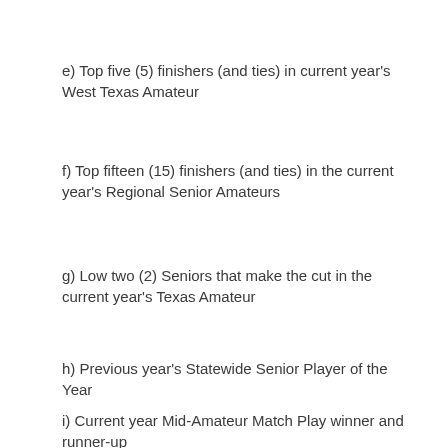e) Top five (5) finishers (and ties) in current year's West Texas Amateur
f) Top fifteen (15) finishers (and ties) in the current year's Regional Senior Amateurs
g) Low two (2) Seniors that make the cut in the current year's Texas Amateur
h) Previous year's Statewide Senior Player of the Year
i) Current year Mid-Amateur Match Play winner and runner-up